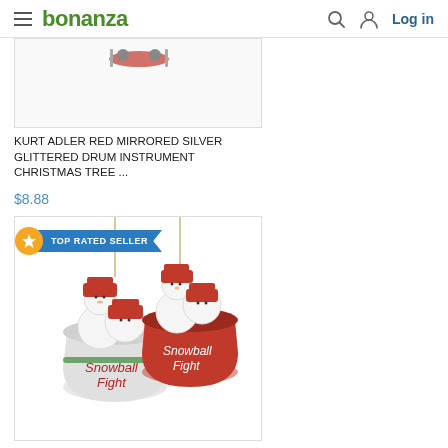bonanza | Log in
[Figure (photo): Top portion of a product image showing Christmas ornament (drum instrument), partially cropped]
KURT ADLER RED MIRRORED SILVER GLITTERED DRUM INSTRUMENT CHRISTMAS TREE ...
$8.88
[Figure (photo): Two red and white snowman bucket Christmas ornaments labeled 'Snowball Fight'. TOP RATED SELLER badge shown.]
KURT ADLER SET OF 2 RED & WHITE "SNOWBALL FIGHT" BUCKET CHRISTMAS ORNAMENTS...